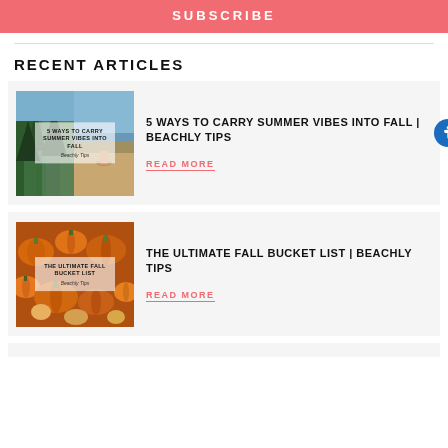SUBSCRIBE
RECENT ARTICLES
[Figure (photo): Two-panel thumbnail image: left panel shows forest/trees scene, right panel shows beach scene. Overlay text reads '5 WAYS TO CARRY SUMMER VIBES INTO FALL | Beachly Tips']
5 WAYS TO CARRY SUMMER VIBES INTO FALL | BEACHLY TIPS
READ MORE
[Figure (photo): Thumbnail image of orange pumpkins/gourds. Overlay text reads 'THE ULTIMATE FALL BUCKET LIST | Beachly Tips']
THE ULTIMATE FALL BUCKET LIST | BEACHLY TIPS
READ MORE